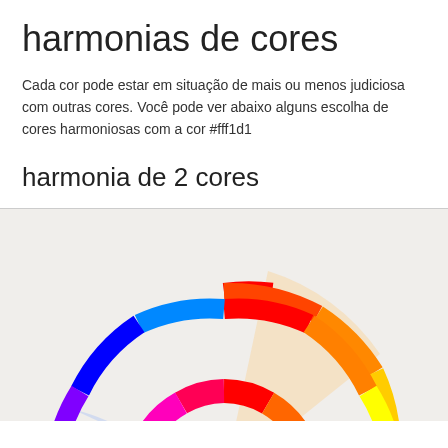harmonias de cores
Cada cor pode estar em situação de mais ou menos judiciosa com outras cores. Você pode ver abaixo alguns escolha de cores harmoniosas com a cor #fff1d1
harmonia de 2 cores
[Figure (other): Color wheel diagram showing a rainbow-colored outer ring (donut) and a highlighted wedge sector in light peach/beige color, and a light blue wedge at bottom, representing 2-color harmony for #fff1d1]